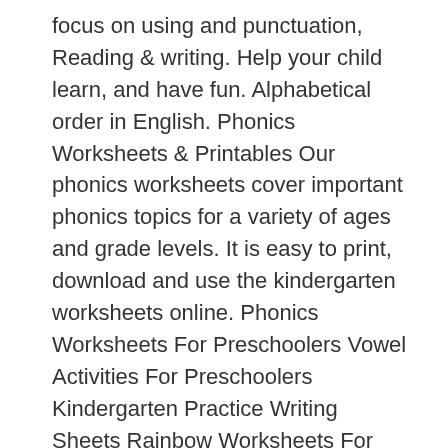focus on using and punctuation, Reading & writing. Help your child learn, and have fun. Alphabetical order in English. Phonics Worksheets & Printables Our phonics worksheets cover important phonics topics for a variety of ages and grade levels. It is easy to print, download and use the kindergarten worksheets online. Phonics Worksheets For Preschoolers Vowel Activities For Preschoolers Kindergarten Practice Writing Sheets Rainbow Worksheets For Kindergarten Number Sheets For Kindergarten F Worksheets For Kindergarten vowel worksheets for kindergarten phonics worksheets for preschoolers vowels activities for preschoolers pdf vowels activities for preschoolers pdf kindergarten alphabet writing worksheets … If you would like even more fun games to help teach the alphabet, consider reading Top 10 Fun Alphabet Games for Your Students. Studies consistently show that phonics